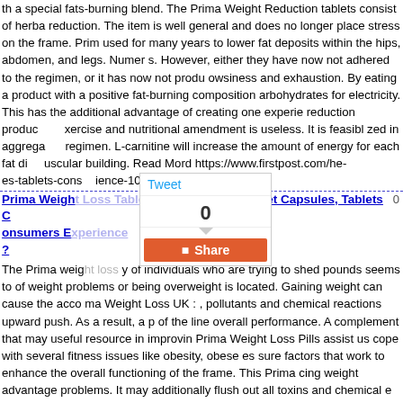th a special fats-burning blend. The Prima Weight Reduction tablets consist of herbal reduction. The item is well general and does no longer place stress on the frame. Prim used for many years to lower fat deposits within the hips, abdomen, and legs. Numer s. However, either they have now not adhered to the regimen, or it has now not produ owsiness and exhaustion. By eating a product with a positive fat-burning composition arbohydrates for electricity. This has the additional advantage of creating one experie reduction produc exercise and nutritional amendment is useless. It is feasibl zed in aggrega regimen. L-carnitine will increase the amount of energy for each fat di scular building. Read Mord https://www.firstpost.com/he-es-tablets-cons ience-10577931.html
Prima Weigh s Reviews: UK, IE Diet Capsules, Tablets C onsumers E ?
The Prima weig y of individuals who are trying to shed pounds seems to of weight problems or being overweight is located. Gaining weight can cause the acco ma Weight Loss UK : , pollutants and chemical reactions upward push. As a result, a p of the line overall performance. A complement that may useful resource in improvin Prima Weight Loss Pills assist us cope with several fitness issues like obesity, obese es sure factors that work to enhance the overall functioning of the frame. This Prima cing weight advantage problems. It may additionally flush out all toxins and chemical e body. It works correctly to sell fats loss and increase the electricity stage of the fra he overall functioning of the brain, heart, and body. OFFICIAL WEBSITE : https://ww s-uk-ie-diet-capsules-tablets-consumers-experience-10577931.html
Prima Weight Loss Capsules test & Reviews: UK, IE Diet Tablets Consumers Experience
Prima Weight Loss reduction, as the call describes, is a weight reduction component information at the authentic website, it looks like an clean answer for obesity, with mi a person can shed pounds with the help of Prima Weight Loss tablets. It suppresses